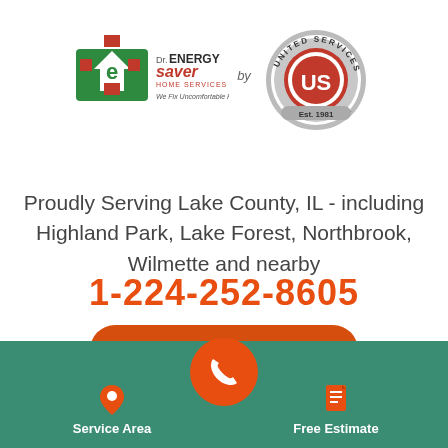[Figure (logo): Dr. Energy Saver Home Services logo with 'by' text and United Services 'US' circular badge logo, Est. 1981]
Proudly Serving Lake County, IL - including Highland Park, Lake Forest, Northbrook, Wilmette and nearby
1-224-252-8605
or Contact Us Online
[Figure (logo): Facebook and Google social media icons (dark gray circles with f and G letters)]
[Figure (infographic): Green bottom bar with Service Area (map pin icon), phone call button (orange circle with phone icon), and Free Estimate (document icon) sections]